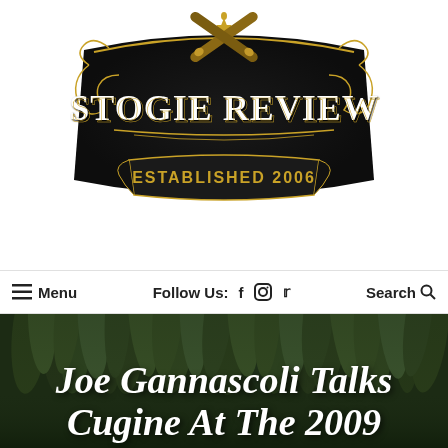[Figure (logo): Stogie Review logo — ornate black and gold emblem with two crossed cigars, decorative scrollwork, fleur-de-lis at top, and banner reading 'ESTABLISHED 2006']
≡ Menu    Follow Us:  f  ⊙  𝕥    Search 🔍
[Figure (photo): Dark background photo of hanging tobacco leaves (green/dark, densely packed)]
Joe Gannascoli Talks Cugine At The 2009